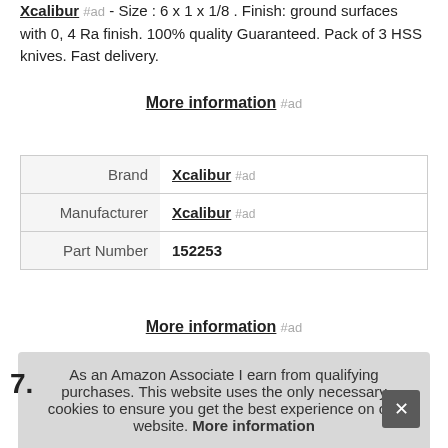Xcalibur #ad - Size : 6 x 1 x 1/8 . Finish: ground surfaces with 0, 4 Ra finish. 100% quality Guaranteed. Pack of 3 HSS knives. Fast delivery.
More information #ad
|  |  |
| --- | --- |
| Brand | Xcalibur #ad |
| Manufacturer | Xcalibur #ad |
| Part Number | 152253 |
More information #ad
As an Amazon Associate I earn from qualifying purchases. This website uses the only necessary cookies to ensure you get the best experience on our website. More information
7.